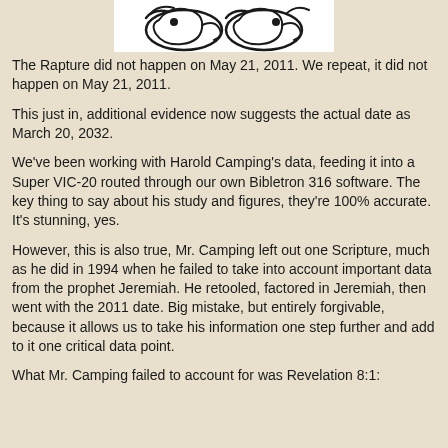[Figure (illustration): A decorative illustration showing stylized swirling shapes or creatures, in black and white, centered at the top of the page.]
The Rapture did not happen on May 21, 2011. We repeat, it did not happen on May 21, 2011.
This just in, additional evidence now suggests the actual date as March 20, 2032.
We've been working with Harold Camping's data, feeding it into a Super VIC-20 routed through our own Bibletron 316 software. The key thing to say about his study and figures, they're 100% accurate. It's stunning, yes.
However, this is also true, Mr. Camping left out one Scripture, much as he did in 1994 when he failed to take into account important data from the prophet Jeremiah. He retooled, factored in Jeremiah, then went with the 2011 date. Big mistake, but entirely forgivable, because it allows us to take his information one step further and add to it one critical data point.
What Mr. Camping failed to account for was Revelation 8:1: